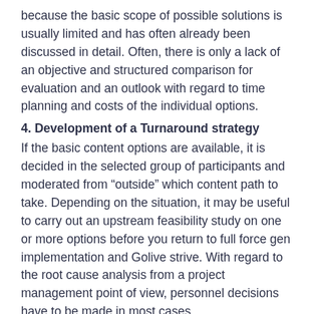because the basic scope of possible solutions is usually limited and has often already been discussed in detail. Often, there is only a lack of an objective and structured comparison for evaluation and an outlook with regard to time planning and costs of the individual options.
4. Development of a Turnaround strategy
If the basic content options are available, it is decided in the selected group of participants and moderated from “outside” which content path to take. Depending on the situation, it may be useful to carry out an upstream feasibility study on one or more options before you return to full force gen implementation and Golive strive. With regard to the root cause analysis from a project management point of view, personnel decisions have to be made in most cases.
Against this background and on the basis of a healthy error culture, appropriate measures should be